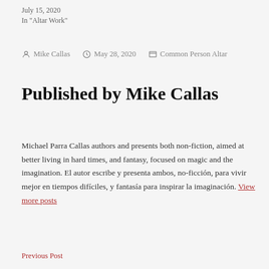July 15, 2020
In "Altar Work"
Mike Callas   May 28, 2020   Common Person Altar
Published by Mike Callas
Michael Parra Callas authors and presents both non-fiction, aimed at better living in hard times, and fantasy, focused on magic and the imagination. El autor escribe y presenta ambos, no-ficción, para vivir mejor en tiempos difíciles, y fantasía para inspirar la imaginación. View more posts
Previous Post